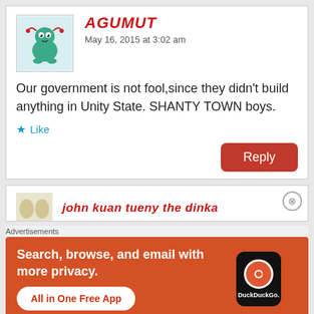[Figure (illustration): User avatar: cartoon green frog-like character with red accessories on light blue background]
AGUMUT
May 16, 2015 at 3:02 am
Our government is not fool,since they didn't build anything in Unity State. SHANTY TOWN boys.
Like
Reply
[Figure (illustration): Partial user avatar for john kuan tueny the dinka]
john kuan tueny the dinka
Advertisements
[Figure (infographic): DuckDuckGo advertisement banner: orange/red background with text 'Search, browse, and email with more privacy. All in One Free App' and DuckDuckGo logo on a phone mockup]